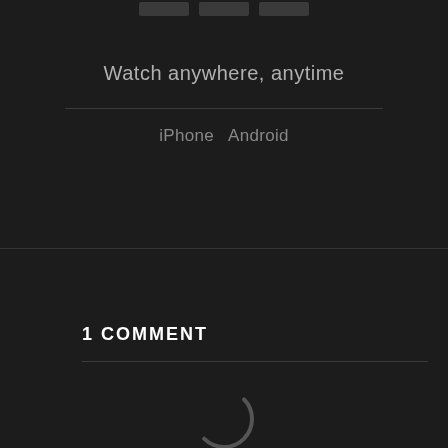[Figure (other): Three small dark rectangular button/icon placeholders at the top center]
Watch anywhere, anytime
iPhone   Android
1 COMMENT
[Figure (other): Loading spinner circle partially visible at bottom of page]